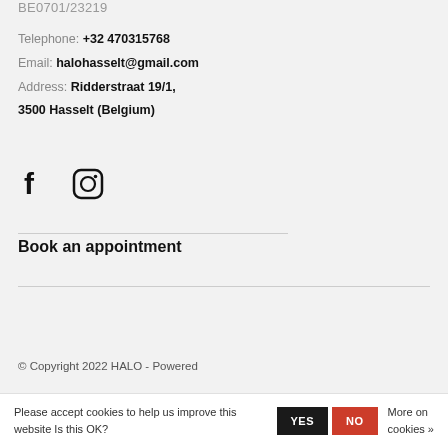BE0701/23219
Telephone: +32 470315768
Email: halohasselt@gmail.com
Address: Ridderstraat 19/1, 3500 Hasselt (Belgium)
[Figure (illustration): Facebook and Instagram social media icons]
Book an appointment
© Copyright 2022 HALO - Powered
Please accept cookies to help us improve this website Is this OK?